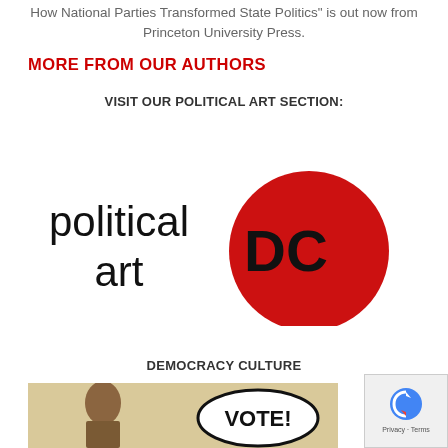How National Parties Transformed State Politics" is out now from Princeton University Press.
MORE FROM OUR AUTHORS
VISIT OUR POLITICAL ART SECTION:
[Figure (logo): Political Art DC logo — text 'political art' on the left and a red circle with 'DC' in bold black letters on the right]
DEMOCRACY CULTURE
[Figure (photo): Bottom portion showing a beige/tan background with a figure and a 'VOTE!' oval badge/button]